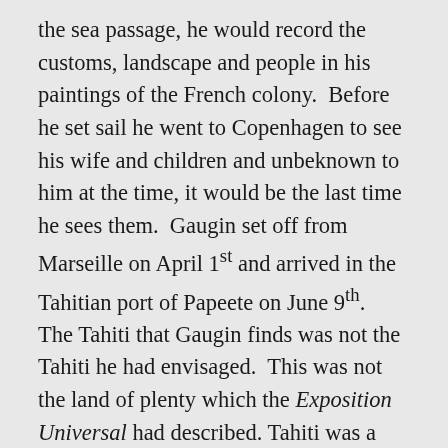the sea passage, he would record the customs, landscape and people in his paintings of the French colony. Before he set sail he went to Copenhagen to see his wife and children and unbeknown to him at the time, it would be the last time he sees them. Gaugin set off from Marseille on April 1st and arrived in the Tahitian port of Papeete on June 9th. The Tahiti that Gaugin finds was not the Tahiti he had envisaged. This was not the land of plenty which the Exposition Universal had described. Tahiti was a down-at-heel French colony and Gaugin believed the native Tahitians had been ruined by missionary zeal. What he had expected to see just did not exist.